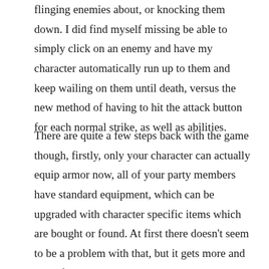flinging enemies about, or knocking them down. I did find myself missing be able to simply click on an enemy and have my character automatically run up to them and keep wailing on them until death, versus the new method of having to hit the attack button for each normal strike, as well as abilities.
There are quite a few steps back with the game though, firstly, only your character can actually equip armor now, all of your party members have standard equipment, which can be upgraded with character specific items which are bought or found. At first there doesn't seem to be a problem with that, but it gets more and more frustrating when you beat some boss and get some sweet mage robes, which you end up selling simply because you're a warrior,